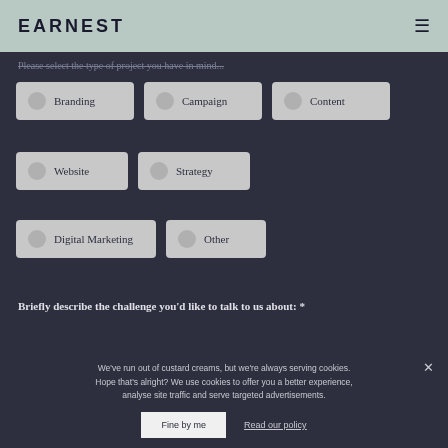EARNEST
Please select the type of project you have in mind...
Branding
Campaign
Content
Website
Strategy
Digital Marketing
Other
Briefly describe the challenge you'd like to talk to us about: *
We've run out of custard creams, but we're always serving cookies. Hope that's alright? We use cookies to offer you a better experience, analyse site traffic and serve targeted advertisements.
Fine by me
Read our policy